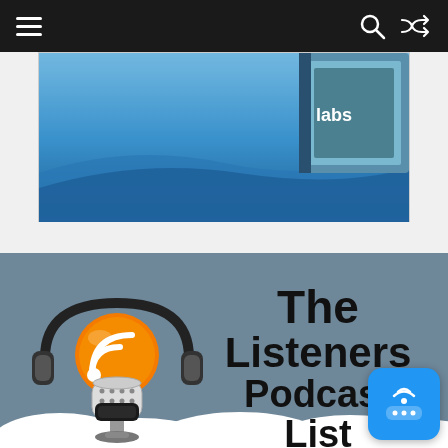Navigation bar with hamburger menu, search, and shuffle icons
[Figure (advertisement): Social Selling Labs ad banner with blue gradient top image showing a book labeled 'Labs', SSL flask logo, company name 'Social Selling Labs', and a blue 'DOWNLOAD NOW' button with down arrow]
[Figure (illustration): Podcast section with grey-blue background showing a microphone with headphones and an orange RSS feed ball, text reading 'The Listeners Podcast List', white cloud shapes at the bottom, and a blue chat widget in the bottom-right corner]